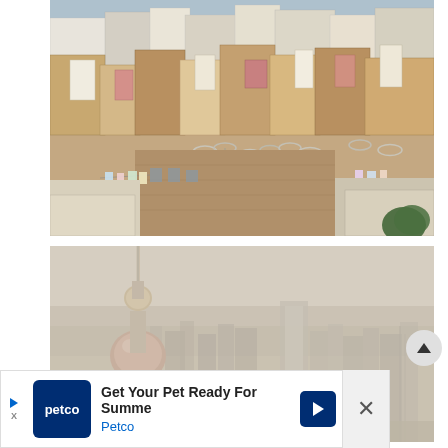[Figure (photo): Aerial view of a densely packed urban neighborhood with flat-roofed buildings, satellite dishes, laundry hanging outside, and warm earth-toned walls — resembling a Middle Eastern or North African medina/old city.]
[Figure (photo): Hazy skyline view of Shanghai showing the Oriental Pearl Tower prominently on the left and skyscrapers in the background obscured by smog/haze.]
Get Your Pet Ready For Summe
Petco